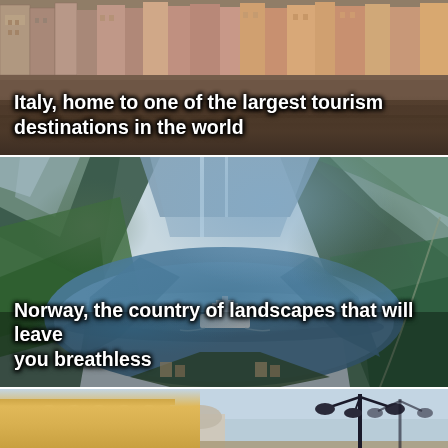[Figure (photo): Aerial/elevated view of an Italian city with historic buildings along a river, colorful facades visible, warm tones. Text overlay: 'Italy, home to one of the largest tourism destinations in the world']
[Figure (photo): Aerial view of a Norwegian fjord with steep green and rocky mountainsides, deep blue water with a cruise ship visible, valley landscape. Text overlay: 'Norway, the country of landscapes that will leave you breathless']
[Figure (photo): Partial view of a Czech/European city square with ornate yellow building facade on left and decorative street lamp on right, pale blue sky background]